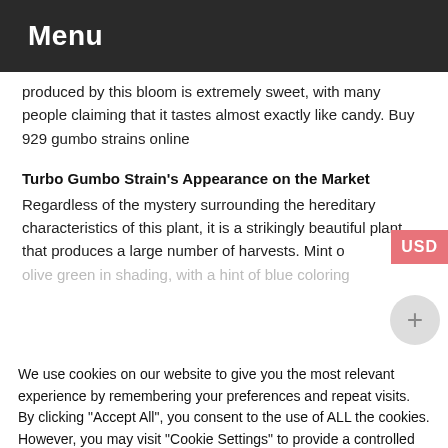Menu
produced by this bloom is extremely sweet, with many people claiming that it tastes almost exactly like candy. Buy 929 gumbo strains online
Turbo Gumbo Strain's Appearance on the Market
Regardless of the mystery surrounding the hereditary characteristics of this plant, it is a strikingly beautiful plant that produces a large number of harvests. Mint olive green in shading, with a hint of blue coloring
We use cookies on our website to give you the most relevant experience by remembering your preferences and repeat visits. By clicking "Accept All", you consent to the use of ALL the cookies. However, you may visit "Cookie Settings" to provide a controlled consent.
Cookie Settings  Accept All